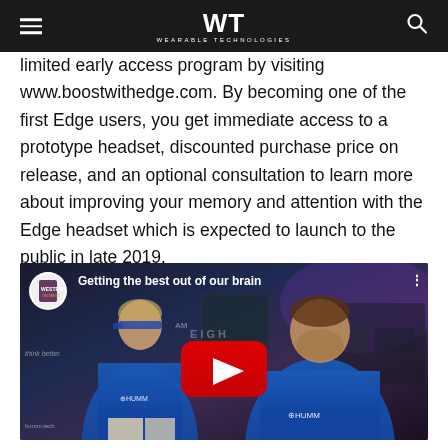WT WEARABLE TECHNOLOGIES
limited early access program by visiting www.boostwithedge.com. By becoming one of the first Edge users, you get immediate access to a prototype headset, discounted purchase price on release, and an optional consultation to learn more about improving your memory and attention with the Edge headset which is expected to launch to the public in late 2019.
[Figure (screenshot): YouTube video thumbnail showing two people in blue HUMM-branded shirts, with video title 'Getting the best out of our brain' and a YouTube play button overlay]